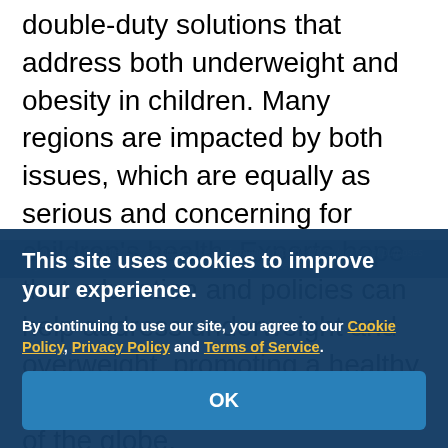double-duty solutions that address both underweight and obesity in children. Many regions are impacted by both issues, which are equally as serious and concerning for children's health. Experts hope that education and policies can help address underweight and overweight, promoting a healthy weight in children in all corners of the globe.
Learn about our content's scientific sources. Information provided for educational purposes only. Should not be used as professional advice for your specific situation.
This site uses cookies to improve your experience.

By continuing to use our site, you agree to our Cookie Policy, Privacy Policy and Terms of Service.
OK